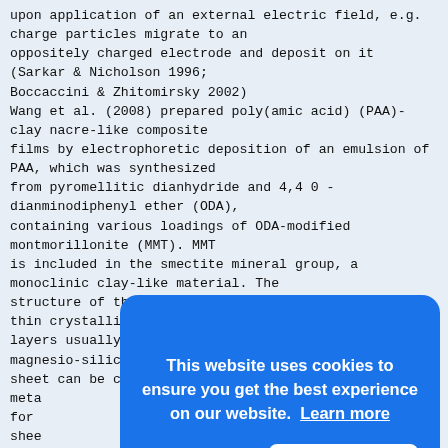upon application of an external electric field, e.g. charge particles migrate to an oppositely charged electrode and deposit on it (Sarkar & Nicholson 1996; Boccaccini & Zhitomirsky 2002) Wang et al. (2008) prepared poly(amic acid) (PAA)-clay nacre-like composite films by electrophoretic deposition of an emulsion of PAA, which was synthesized from pyromellitic dianhydride and 4,4 0 - dianminodiphenyl ether (ODA), containing various loadings of ODA-modified montmorillonite (MMT). MMT is included in the smectite mineral group, a monoclinic clay-like material. The structure of this layered silicate is based on very thin crystalline layers. The layers usually consist of a crystalline alumino- or magnesio-silicate, and the total sheet can be charged due to charge deficiencies when metal ions are exchanged. for sheet laye shar used nano laye 2000 was achi layered assembly of the PAA-MMT composite film. The
[Figure (screenshot): Cookie consent overlay popup with blue background. Text reads: 'This website uses cookies to ensure you get the best experience on our website. Learn more'. Two buttons: 'Decline' (white text on blue) and 'Allow cookies' (blue text on white).]